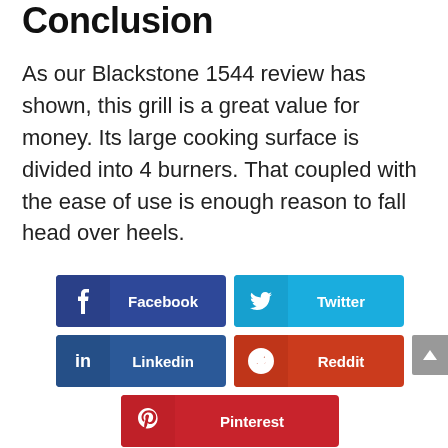Conclusion
As our Blackstone 1544 review has shown, this grill is a great value for money. Its large cooking surface is divided into 4 burners. That coupled with the ease of use is enough reason to fall head over heels.
[Figure (infographic): Social share buttons: Facebook (dark blue), Twitter (light blue), Linkedin (dark blue), Reddit (orange-red), Pinterest (red), and a Check price button with Amazon label]
Amazon